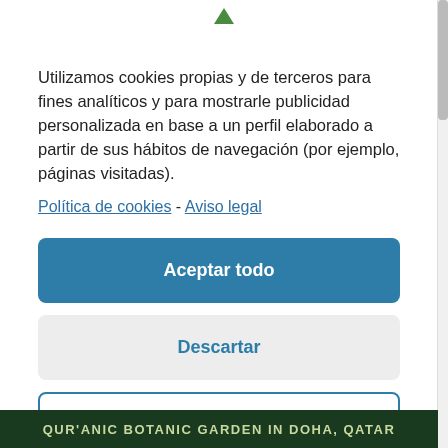Utilizamos cookies propias y de terceros para fines analíticos y para mostrarle publicidad personalizada en base a un perfil elaborado a partir de sus hábitos de navegación (por ejemplo, páginas visitadas). Política de cookies - Aviso legal
Aceptar todo
Descartar
Preferencias
QUR'ANIC BOTANIC GARDEN IN DOHA, QATAR